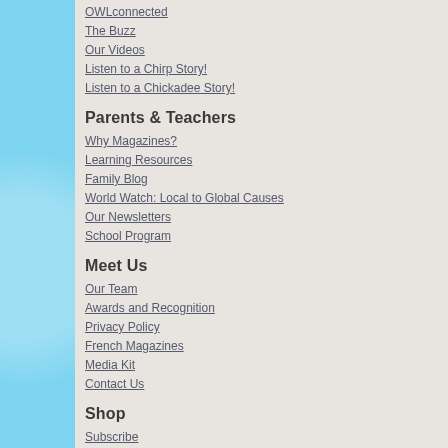OWLconnected
The Buzz
Our Videos
Listen to a Chirp Story!
Listen to a Chickadee Story!
Parents & Teachers
Why Magazines?
Learning Resources
Family Blog
World Watch: Local to Global Causes
Our Newsletters
School Program
Meet Us
Our Team
Awards and Recognition
Privacy Policy
French Magazines
Media Kit
Contact Us
Shop
Subscribe